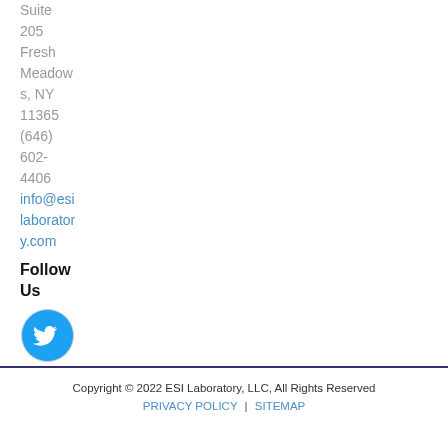Suite 205 Fresh Meadows, NY 11365 (646) 602-4406
info@esilaboratory.com
Follow Us
[Figure (logo): Twitter social media icon — circular blue button with white bird logo]
[Figure (logo): LinkedIn social media icon — circular gray-outlined button with white 'in' logo on blue background]
Copyright © 2022 ESI Laboratory, LLC, All Rights Reserved
PRIVACY POLICY | SITEMAP